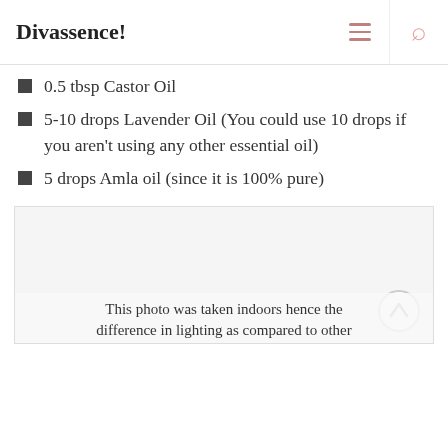Divassence!
1.5 tbsp olive oil (I use EVOO)
1.5 Coconut oil
1 tbsp Argan Oil
0.5 tbsp Castor Oil
5-10 drops Lavender Oil (You could use 10 drops if you aren't using any other essential oil)
5 drops Amla oil (since it is 100% pure)
[Figure (photo): A photo of hair oil mixture taken indoors, with white/light background]
This photo was taken indoors hence the difference in lighting as compared to other